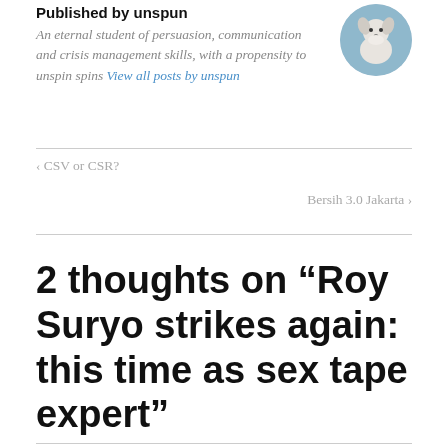Published by unspun
An eternal student of persuasion, communication and crisis management skills, with a propensity to unspin spins View all posts by unspun
[Figure (photo): Circular avatar photo of a small white terrier dog against a blue background]
< CSV or CSR?
Bersih 3.0 Jakarta >
2 thoughts on “Roy Suryo strikes again: this time as sex tape expert”